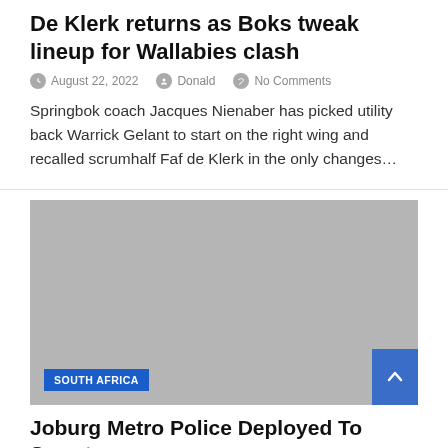De Klerk returns as Boks tweak lineup for Wallabies clash
August 22, 2022  Donald  No Comments
Springbok coach Jacques Nienaber has picked utility back Warrick Gelant to start on the right wing and recalled scrumhalf Faf de Klerk in the only changes…
[Figure (photo): Grey placeholder image with SOUTH AFRICA category tag in blue at bottom left]
Joburg Metro Police Deployed To Soweto